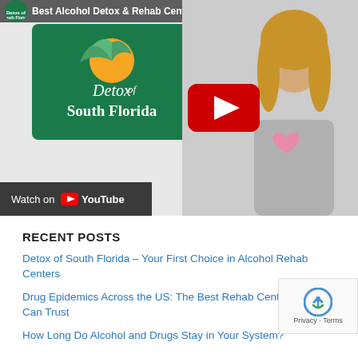[Figure (screenshot): YouTube video thumbnail for 'Best Alcohol Detox & Rehab Center in Florida' by Detox of South Florida, showing the channel logo on a green background and a woman in a grey sweater with a pink heart, with a red YouTube play button overlay and 'Watch on YouTube' bar at the bottom.]
RECENT POSTS
Detox of South Florida – Your First Choice in Alcohol Rehab Centers
Drug Epidemics Across the US: The Best Rehab Centers You Can Trust
How Long Do Alcohol and Drugs Stay in Your System?